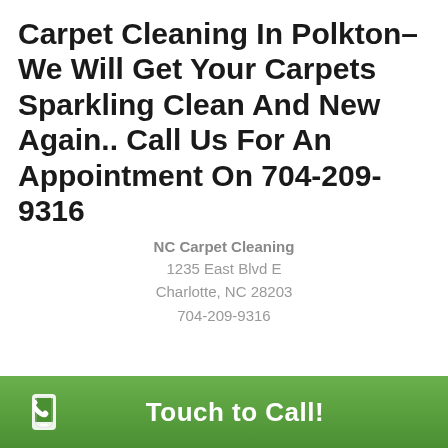Carpet Cleaning In Polkton– We Will Get Your Carpets Sparkling Clean And New Again.. Call Us For An Appointment On 704-209-9316
NC Carpet Cleaning
1235 East Blvd E
Charlotte, NC 28203
704-209-9316
Charlotte, Paw Creek, Newell, Pineville, Matthews, Belmont, Mount Holly, Huntersville, Harrisburg, Cramerton, Mc Adenville, Lowell, Indian Trail, Fort Mill, Gastonia, Stanley, Concord, Cornelius, Midland, Davidson, Alexis, Mount Mourne, Dallas, Van Wyck, Monroe, Denver, Rock Hill, Clover, Waxhaw, Bowling Green, Kannapolis, Mineral Springs, Iron Station, High Shoals,
Touch to Call!